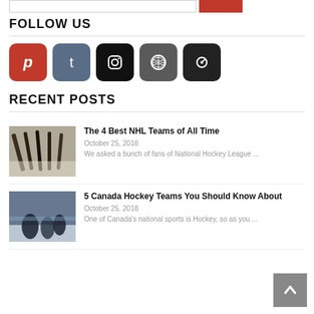FOLLOW US
[Figure (other): Social media icons: Pinterest (red), Tumblr (slate blue), Instagram (black), WordPress (dark gray), Ello (black)]
RECENT POSTS
[Figure (photo): Hockey sticks resting on ice rink boards]
The 4 Best NHL Teams of All Time
October 25, 2018
We asked a bunch of fans of National Hockey League ...
[Figure (photo): Hockey players on ice rink during game]
5 Canada Hockey Teams You Should Know About
October 25, 2018
One of Canada's national sports is Hockey, so as you ...